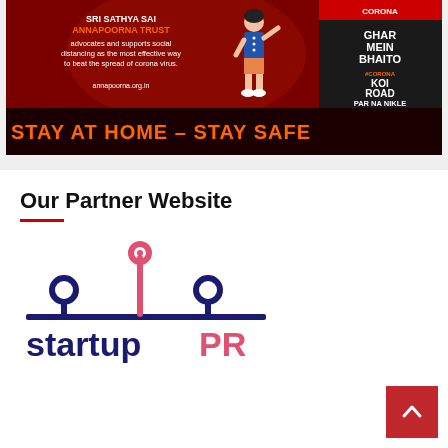[Figure (infographic): Sri Sathya Sai Annapoorna Trust COVID-19 awareness banner: red background with text about social distancing, animated girl figure, corona awareness boxes on right side, and 'STAY AT HOME - STAY SAFE' message at bottom in orange]
Our Partner Website
[Figure (logo): startupPR logo: dark navy blue circuit/branch design above text 'startup' in dark navy and 'PR' in orange-red color]